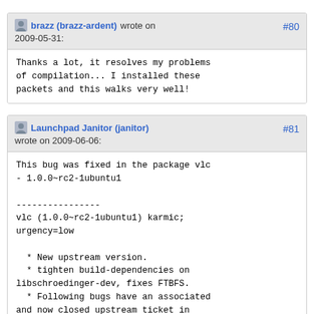brazz (brazz-ardent) wrote on 2009-05-31: #80
Thanks a lot, it resolves my problems of compilation... I installed these packets and this walks very well!
Launchpad Janitor (janitor) wrote on 2009-06-06: #81
This bug was fixed in the package vlc - 1.0.0~rc2-1ubuntu1

----------------
vlc (1.0.0~rc2-1ubuntu1) karmic; urgency=low

  * New upstream version.
  * tighten build-dependencies on libschroedinger-dev, fixes FTBFS.
  * Following bugs have an associated and now closed upstream ticket in
      Launchpad: LP: #281295, #73449, #282567, #117640, #172938, #260918, #272685, #275042, #277024